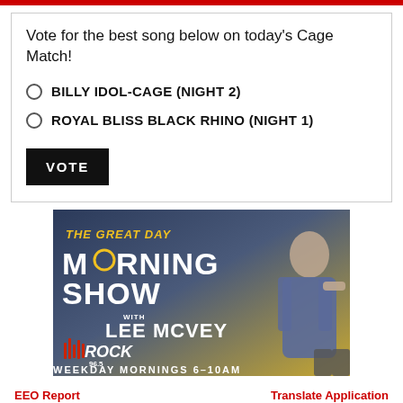Vote for the best song below on today's Cage Match!
BILLY IDOL-CAGE (NIGHT 2)
ROYAL BLISS BLACK RHINO (NIGHT 1)
VOTE
[Figure (photo): Advertisement banner for The Great Day Morning Show with Lee McVey on Rock 96.5, weekday mornings 6-10AM, featuring a man pointing at the camera]
EEO Report    Translate Application